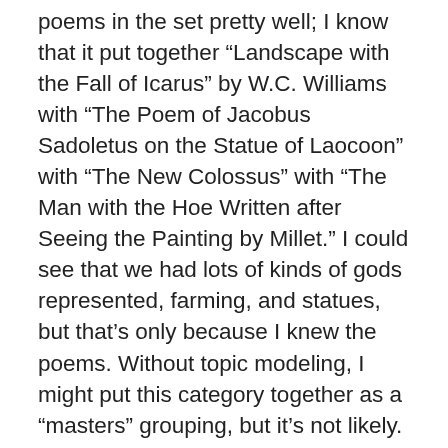poems in the set pretty well; I know that it put together “Landscape with the Fall of Icarus” by W.C. Williams with “The Poem of Jacobus Sadoletus on the Statue of Laocoon” with “The New Colossus” with “The Man with the Hoe Written after Seeing the Painting by Millet.” I could see that we had lots of kinds of gods represented, farming, and statues, but that’s only because I knew the poems. Without topic modeling, I might put this category together as a “masters” grouping, but it’s not likely. Rather than look for connections, I was focused on the fact that the topic keys didn’t make a strong case for their being placed together, and other categories seemed similarly opaque. However, just to be sure that I could, in fact, visualize results of future tests, I went ahead and imported the topic associations by file. In other